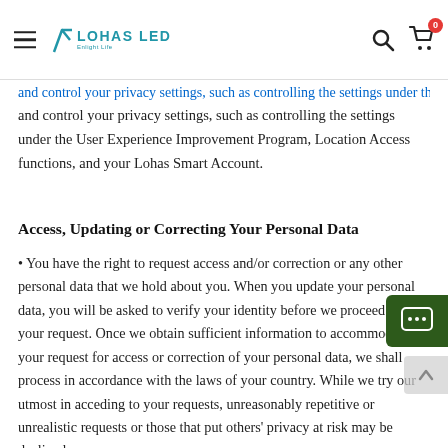LOHAS LED [logo and navigation header]
and control your privacy settings, such as controlling the settings under the User Experience Improvement Program, Location Access functions, and your Lohas Smart Account.
Access, Updating or Correcting Your Personal Data
• You have the right to request access and/or correction or any other personal data that we hold about you. When you update your personal data, you will be asked to verify your identity before we proceed with your request. Once we obtain sufficient information to accommodate your request for access or correction of your personal data, we shall process in accordance with the laws of your country. While we try our utmost in acceding to your requests, unreasonably repetitive or unrealistic requests or those that put others' privacy at risk may be declined.
• We normally provide such services for free but reserve the right to charge a reasonable fee.